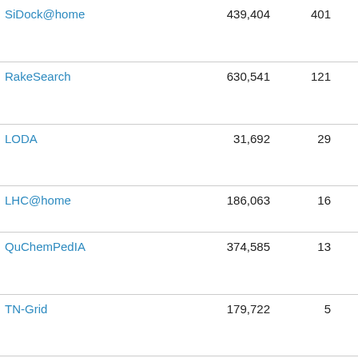| SiDock@home | 439,404 | 401 | 24 Oct 2020 |
| RakeSearch | 630,541 | 121 | 17 Nov 2017 |
| LODA | 31,692 | 29 | 13 Jun 2022 |
| LHC@home | 186,063 | 16 | 13 Jul 2005 |
| QuChemPedIA | 374,585 | 13 | 17 Oct 2019 |
| TN-Grid | 179,722 | 5 | 29 Feb 2016 |
| Rosetta@home | 431,319 | 4 | 18 Sep 2005 |